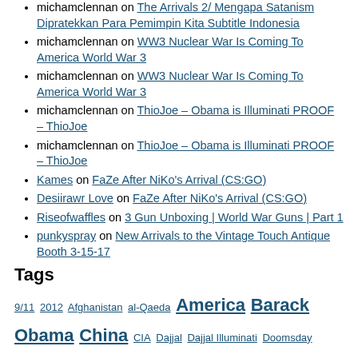michamclennan on The Arrivals 2/ Mengapa Satanis Dipratekkan Para Pemimpin Kita Subtitle Indonesia
michamclennan on WW3 Nuclear War Is Coming To America World War 3
michamclennan on WW3 Nuclear War Is Coming To America World War 3
michamclennan on ThioJoe – Obama is Illuminati PROOF – ThioJoe
michamclennan on ThioJoe – Obama is Illuminati PROOF – ThioJoe
Kames on FaZe After NiKo's Arrival (CS:GO)
Desiirawr Love on FaZe After NiKo's Arrival (CS:GO)
Riseofwaffles on 3 Gun Unboxing | World War Guns | Part 1
punkyspray on New Arrivals to the Vintage Touch Antique Booth 3-15-17
Tags
9/11 2012 Afghanistan al-Qaeda America Barack Obama China CIA Dajjal Dajjal Illuminati Doomsday economic collapse economic crisis evidence false flag false flag operation false flag terror Illuminati Dajjal illuminati documentary Iran Israel Latest News Masonic conspiracy Middle East Mossad New World Order